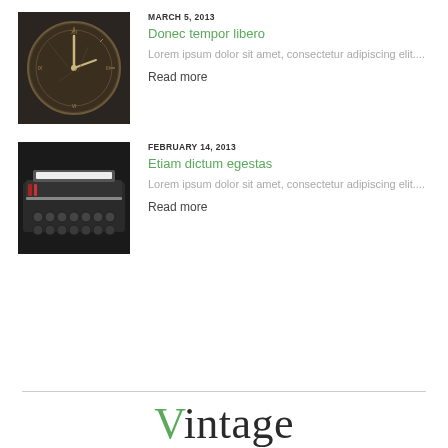MARCH 5, 2013
Donec tempor libero
Lorem ipsum dolor sit amet, consectetur adipiscing elit....
Read more
[Figure (photo): Close-up of an antique clock face with roman numerals, dark tones]
FEBRUARY 14, 2013
Etiam dictum egestas
Lorem ipsum dolor sit amet, consectetur adipiscing elit....
Read more
[Figure (photo): Close-up of an antique typewriter keyboard, dark tones]
Vintage